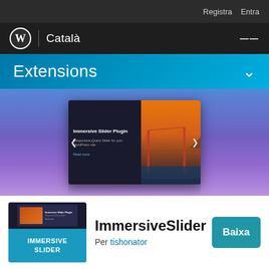Registra  Entra
[Figure (logo): WordPress logo and 'Català' navigation bar with hamburger menu]
Extensions
[Figure (screenshot): Immersive Slider Plugin promotional screenshot showing a slider with Golden Gate Bridge image, text 'Immersive Slider Plugin - Responsive jQuery Slider for your WordPress site - Read more', with navigation arrows on blue/dark background]
[Figure (screenshot): ImmersiveSlider plugin thumbnail showing 'IMMERSIVE SLIDER' text on teal/cyan background with small plugin preview]
ImmersiveSlider
Per tishonator
Baixa